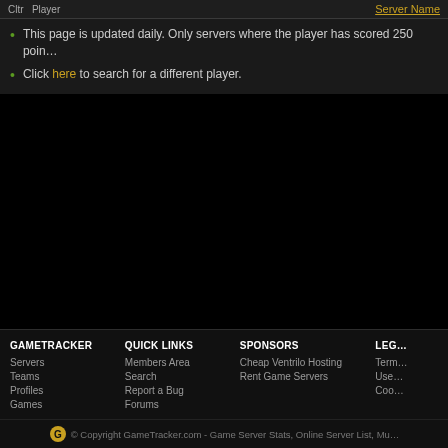| Cltr | Player | Server Name |
| --- | --- | --- |
This page is updated daily. Only servers where the player has scored 250 poin…
Click here to search for a different player.
GAMETRACKER | QUICK LINKS | SPONSORS | LEGAL
Servers | Members Area | Cheap Ventrilo Hosting | Term…
Teams | Search | Rent Game Servers | Use…
Profiles | Report a Bug | Coo…
Games | Forums
© Copyright GameTracker.com - Game Server Stats, Online Server List, Mu…